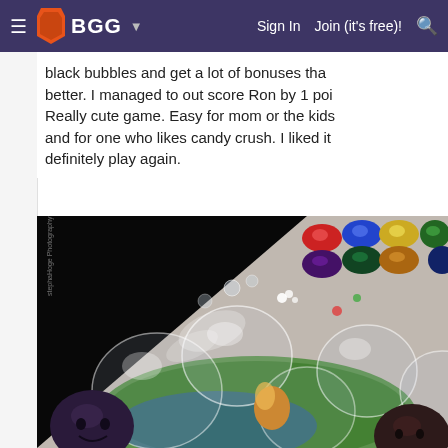BGG — Sign In   Join (it's free)!
black bubbles and get a lot of bonuses that better. I managed to out score Ron by 1 poi Really cute game. Easy for mom or the kids and for one who likes candy crush. I liked it definitely play again.
[Figure (photo): Close-up photo of a board game showing colorful bubble/marble game pieces including black bubbles with faces, transparent glass-like bubbles, and colorful token pieces arranged on the game board.]